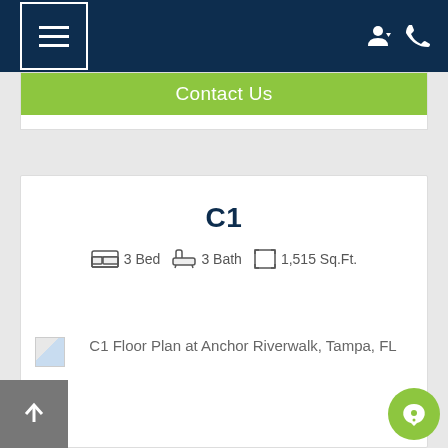Navigation bar with hamburger menu and user/phone icons
Contact Us
C1
3 Bed  3 Bath  1,515 Sq.Ft.
[Figure (other): Broken image placeholder for C1 Floor Plan at Anchor Riverwalk, Tampa, FL]
C1 Floor Plan at Anchor Riverwalk, Tampa, FL